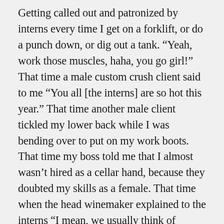Getting called out and patronized by interns every time I get on a forklift, or do a punch down, or dig out a tank. “Yeah, work those muscles, haha, you go girl!” That time a male custom crush client said to me “You all [the interns] are so hot this year.” That time another male client tickled my lower back while I was bending over to put on my work boots. That time my boss told me that I almost wasn’t hired as a cellar hand, because they doubted my skills as a female. That time when the head winemaker explained to the interns “I mean, we usually think of winemaking as kind of a ‘man’s job’.” (“You know what I meant”, so it was fine, right?) That time a maintenance guy called me “the hot girl” in front of my [all-male] team. That time my